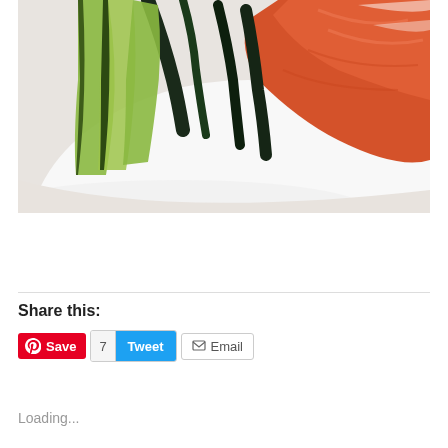[Figure (photo): Close-up photo of a white plate with sliced avocado, nori (seaweed), and a piece of cooked salmon]
Share this:
Save | 7 | Tweet | Email
Loading...